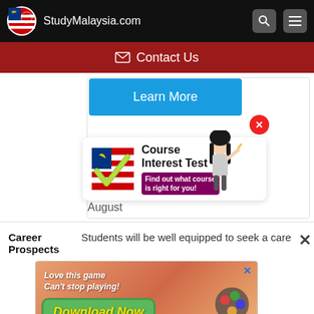StudyMalaysia.com
Contact Us
Learn More
[Figure (other): Course Interest Test widget with Malaysian flag checkmark logo, girl illustration, text 'Course Interest Test - Find out what course is right for you!']
August
Career Prospects
Students will be well equipped to seek a care...
[Figure (other): Mobile game advertisement banner: 'Love this game Can't stop playing! Download Now' - Bubble Shooter Animal World]